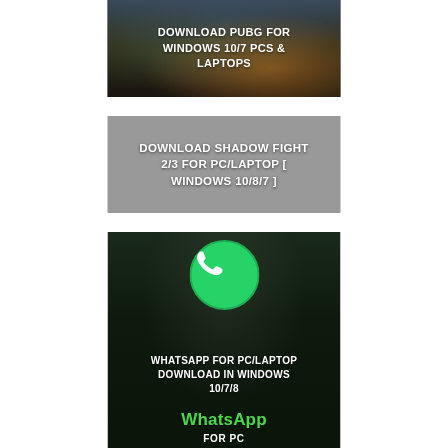[Figure (screenshot): PUBG game thumbnail with dark battle scene background. Text overlay reads: DOWNLOAD PUBG FOR WINDOWS 10/7 PCS & LAPTOPS]
[Figure (screenshot): Gray placeholder thumbnail for Shadow Fight 2/3. Text overlay reads: DOWNLOAD SHADOW FIGHT 2/3 FOR PC/LAPTOP [ WINDOWS 10/8/7 ]]
[Figure (screenshot): WhatsApp for PC thumbnail with dark green background and WhatsApp logo. Text overlay reads: WHATSAPP FOR PC/LAPTOP DOWNLOAD IN WINDOWS 10/7/8, with 'WhatsApp FOR PC' branding at bottom]